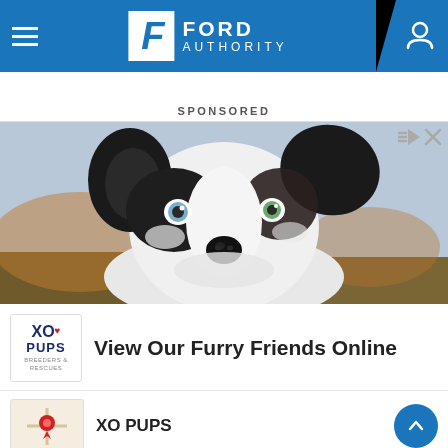FORD AUTHORITY
SPONSORED
[Figure (photo): Close-up photo of a fluffy black and white Border Collie puppy with heterochromia (one blue eye, one green eye), looking directly at the camera against a blurred outdoor background.]
View Our Furry Friends Online
XO PUPS